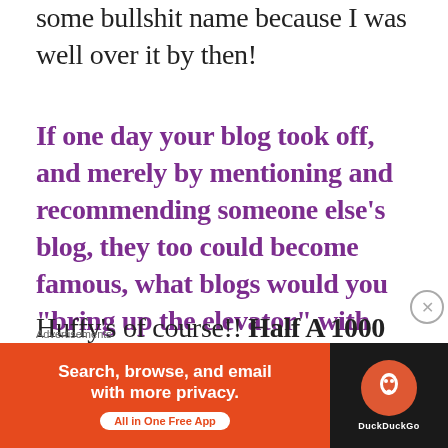some bullshit name because I was well over it by then!
If one day your blog took off, and merely by mentioning and recommending someone else’s blog, they too could become famous, what blogs would you “bring up the elevator” with you?
Huffy’s of course!! Half A 1000 Miles is literally only a few months old but she
Advertisements
[Figure (other): DuckDuckGo advertisement banner: orange background with text 'Search, browse, and email with more privacy. All in One Free App' and DuckDuckGo logo on dark right panel]